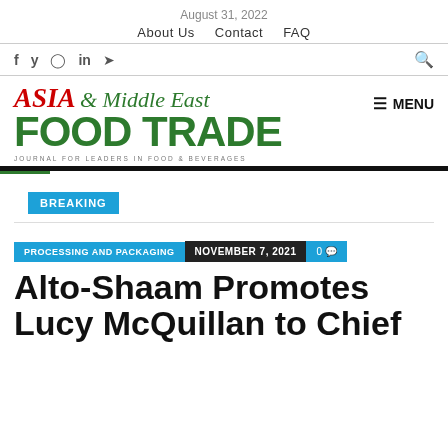August 31, 2022
About Us   Contact   FAQ
f y © in ✈ 🔍
[Figure (logo): Asia & Middle East Food Trade logo — ASIA & Middle East in red/green italic, FOOD TRADE in large green bold, tagline: JOURNAL FOR LEADERS IN FOOD & BEVERAGES]
BREAKING
PROCESSING AND PACKAGING   NOVEMBER 7, 2021   0 💬
Alto-Shaam Promotes Lucy McQuillan to Chief